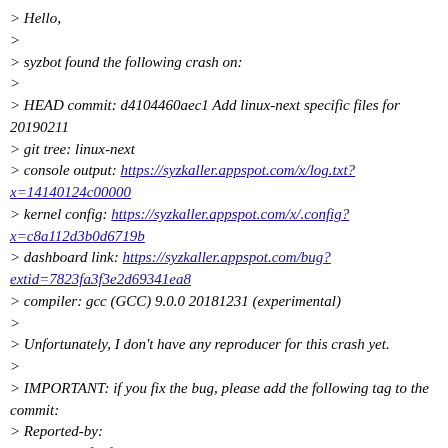> Hello,
>
> syzbot found the following crash on:
>
> HEAD commit: d4104460aec1 Add linux-next specific files for 20190211
> git tree: linux-next
> console output: https://syzkaller.appspot.com/x/log.txt?x=14140124c00000
> kernel config: https://syzkaller.appspot.com/x/.config?x=c8a112d3b0d6719b
> dashboard link: https://syzkaller.appspot.com/bug?extid=7823fa3f3e2d69341ea8
> compiler: gcc (GCC) 9.0.0 20181231 (experimental)
>
> Unfortunately, I don't have any reproducer for this crash yet.
>
> IMPORTANT: if you fix the bug, please add the following tag to the commit:
> Reported-by:
syzbot+7823fa3f3e2d69341ea8@xxxxxxxxxxxxxxxxxxxxxxxxx
>
>
=================================================
> BUG: KASAN: use-after-free in list_add_tail